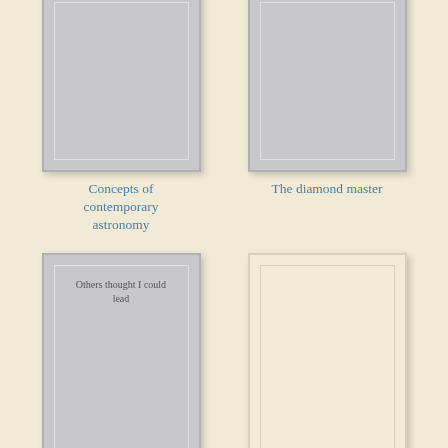[Figure (illustration): Book cover placeholder for 'Concepts of contemporary astronomy']
Concepts of contemporary astronomy
[Figure (illustration): Book cover placeholder for 'The diamond master']
The diamond master
[Figure (illustration): Book cover placeholder for 'Others thought I could lead' with inner text 'Others thought I could lead']
Others thought I could lead
[Figure (illustration): Cream/blank book cover placeholder for 'With General Chennault']
With General Chennault
[Figure (illustration): Partial book cover at bottom left]
[Figure (illustration): Partial book cover at bottom right]